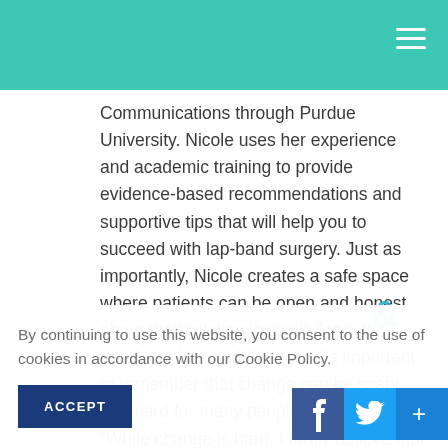Communications through Purdue University. Nicole uses her experience and academic training to provide evidence-based recommendations and supportive tips that will help you to succeed with lap-band surgery. Just as importantly, Nicole creates a safe space where patients can be open and honest about their relationship with food; the good, the bad and the ugly. It's important to remember that change can be scary and hard for many people. She says, “While change is hard, I firmly believe that we can do hard things! I’m here to support you on this journey, celebrate the wins and brainstorm solu tion
By continuing to use this website, you consent to the use of cookies in accordance with our Cookie Policy.
ACCEPT